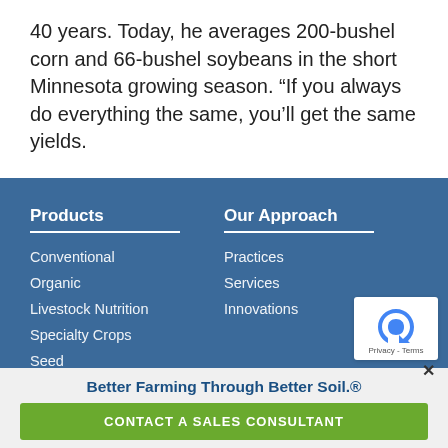40 years. Today, he averages 200-bushel corn and 66-bushel soybeans in the short Minnesota growing season. “If you always do everything the same, you’ll get the same yields.
Products
Conventional
Organic
Livestock Nutrition
Specialty Crops
Seed
Our Approach
Practices
Services
Innovations
Better Farming Through Better Soil.®
CONTACT A SALES CONSULTANT